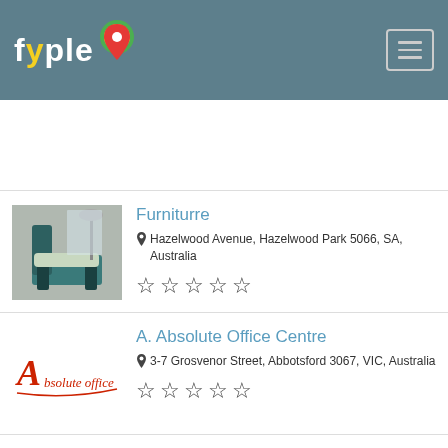fyple
Furniturre — Hazelwood Avenue, Hazelwood Park 5066, SA, Australia
A. Absolute Office Centre — 3-7 Grosvenor Street, Abbotsford 3067, VIC, Australia
Clickon Furniture — 412 Johnston Street, Abbotsford 3067, VIC,